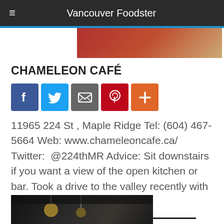Vancouver Foodster
[Figure (photo): Partial top image of food/cafe scene]
CHAMELEON CAFÉ
[Figure (infographic): Social media sharing icons row: Facebook, Twitter, Email, Pinterest, More (+)]
11965 224 St , Maple Ridge Tel: (604) 467-5664 Web: www.chameleoncafe.ca/ Twitter: @224thMR Advice: Sit downstairs if you want a view of the open kitchen or bar. Took a drive to the valley recently with my friend Nikki to visit...
[Figure (photo): Bottom image showing interior of cafe with pendant lights and ceiling]